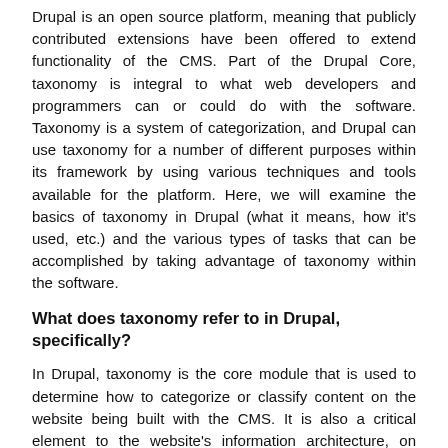Drupal is an open source platform, meaning that publicly contributed extensions have been offered to extend functionality of the CMS. Part of the Drupal Core, taxonomy is integral to what web developers and programmers can or could do with the software. Taxonomy is a system of categorization, and Drupal can use taxonomy for a number of different purposes within its framework by using various techniques and tools available for the platform. Here, we will examine the basics of taxonomy in Drupal (what it means, how it's used, etc.) and the various types of tasks that can be accomplished by taking advantage of taxonomy within the software.
What does taxonomy refer to in Drupal, specifically?
In Drupal, taxonomy is the core module that is used to determine how to categorize or classify content on the website being built with the CMS. It is also a critical element to the website's information architecture, on both the back and front ends.
Taxonomies in Drupal have vocabularies associated with them. As part of a vocabulary list, this helps the CMS to determine what items belong with what types of content. So, further,